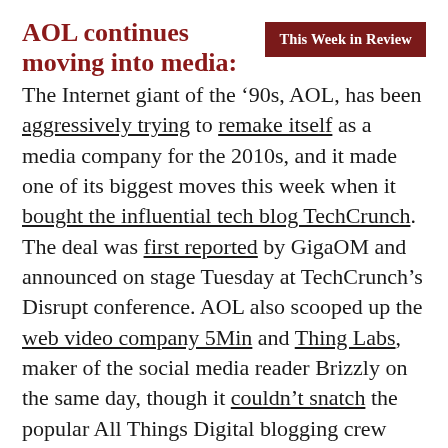AOL continues moving into media:
This Week in Review
The Internet giant of the '90s, AOL, has been aggressively trying to remake itself as a media company for the 2010s, and it made one of its biggest moves this week when it bought the influential tech blog TechCrunch. The deal was first reported by GigaOM and announced on stage Tuesday at TechCrunch's Disrupt conference. AOL also scooped up the web video company 5Min and Thing Labs, maker of the social media reader Brizzly on the same day, though it couldn't snatch the popular All Things Digital blogging crew away from The Wall Street Journal.
Given how central